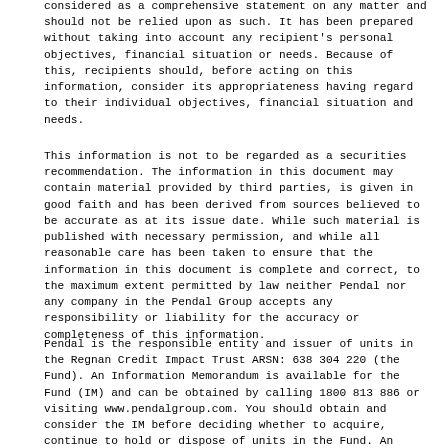considered as a comprehensive statement on any matter and should not be relied upon as such. It has been prepared without taking into account any recipient's personal objectives, financial situation or needs. Because of this, recipients should, before acting on this information, consider its appropriateness having regard to their individual objectives, financial situation and needs.
This information is not to be regarded as a securities recommendation. The information in this document may contain material provided by third parties, is given in good faith and has been derived from sources believed to be accurate as at its issue date. While such material is published with necessary permission, and while all reasonable care has been taken to ensure that the information in this document is complete and correct, to the maximum extent permitted by law neither Pendal nor any company in the Pendal Group accepts any responsibility or liability for the accuracy or completeness of this information.
Pendal is the responsible entity and issuer of units in the Regnan Credit Impact Trust ARSN: 638 304 220 (the Fund). An Information Memorandum is available for the Fund (IM) and can be obtained by calling 1800 813 886 or visiting www.pendalgroup.com. You should obtain and consider the IM before deciding whether to acquire, continue to hold or dispose of units in the Fund. An investment in the Fund is subject to investment risk, including possible delays in repayment of withdrawal proceeds and loss of income and principal invested. Past performance is not a reliable indicator of future performance.
PFSL is the responsible entity and issuer of units in the Pendal Sustainable Australian Fixed Interest Fund (Fund) ARSN: 612 664 730. A product disclosure statement (PDS) is available for the Fund and can be obtained by calling 1 300 346 821 or visiting www.pendalgroup.com. You should obtain and consider the PDS before deciding whether to acquire, continue to hold or dispose of units in the Fund. An investment in the Fund is subject to investment risk, including possible delays in repayment of withdrawal proceeds and loss of income and principal invested.
This article is for general information purposes only, should not be considered as a comprehensive statement on any matter and should not be relied upon as such. It has been prepared without taking into account any recipient's personal objectives, financial